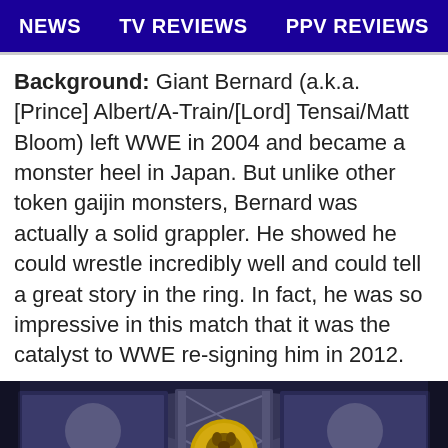NEWS   TV REVIEWS   PPV REVIEWS
Background: Giant Bernard (a.k.a. [Prince] Albert/A-Train/[Lord] Tensai/Matt Bloom) left WWE in 2004 and became a monster heel in Japan. But unlike other token gaijin monsters, Bernard was actually a solid grappler. He showed he could wrestle incredibly well and could tell a great story in the ring. In fact, he was so impressive in this match that it was the catalyst to WWE re-signing him in 2012.
[Figure (photo): Wrestling arena scene showing two wrestlers in a ring with a NJPW lion logo displayed on a backdrop, stage trusses with screens on either side, atmospheric fog/mist, referee visible between the wrestlers.]